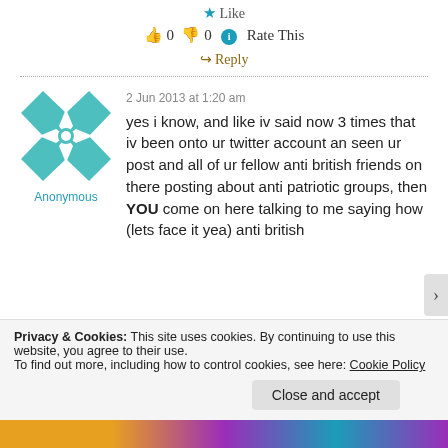★ Like
👍 0 👎 0 ℹ Rate This
↪ Reply
2 Jun 2013 at 1:20 am
Anonymous
yes i know, and like iv said now 3 times that iv been onto ur twitter account an seen ur post and all of ur fellow anti british friends on there posting about anti patriotic groups, then YOU come on here talking to me saying how (lets face it yea) anti british
Privacy & Cookies: This site uses cookies. By continuing to use this website, you agree to their use. To find out more, including how to control cookies, see here: Cookie Policy
Close and accept